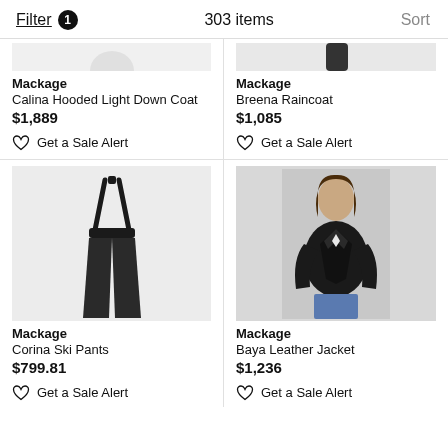Filter 1   303 items   Sort
[Figure (photo): Partial product image of Mackage Calina Hooded Light Down Coat]
Mackage
Calina Hooded Light Down Coat
$1,889
♡ Get a Sale Alert
[Figure (photo): Partial product image of Mackage Breena Raincoat]
Mackage
Breena Raincoat
$1,085
♡ Get a Sale Alert
[Figure (photo): Product image of Mackage Corina Ski Pants - black suspender ski pants on grey background]
Mackage
Corina Ski Pants
$799.81
♡ Get a Sale Alert
[Figure (photo): Product image of Mackage Baya Leather Jacket - woman wearing black leather jacket with jeans]
Mackage
Baya Leather Jacket
$1,236
♡ Get a Sale Alert